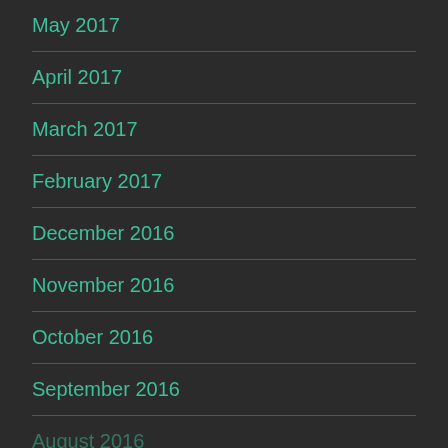May 2017
April 2017
March 2017
February 2017
December 2016
November 2016
October 2016
September 2016
August 2016